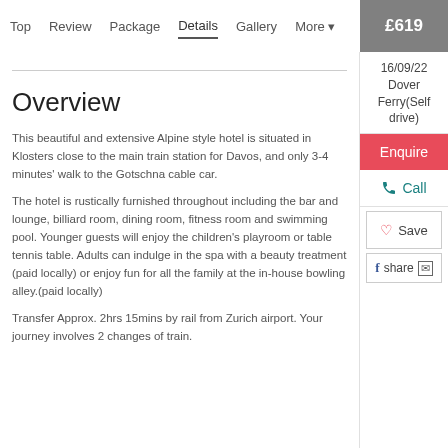Top  Review  Package  Details  Gallery  More ▾  £619
16/09/22 Dover Ferry(Self drive)
Overview
This beautiful and extensive Alpine style hotel is situated in Klosters close to the main train station for Davos, and only 3-4 minutes' walk to the Gotschna cable car.
The hotel is rustically furnished throughout including the bar and lounge, billiard room, dining room, fitness room and swimming pool. Younger guests will enjoy the children's playroom or table tennis table. Adults can indulge in the spa with a beauty treatment (paid locally) or enjoy fun for all the family at the in-house bowling alley.(paid locally)
Transfer Approx. 2hrs 15mins by rail from Zurich airport. Your journey involves 2 changes of train.